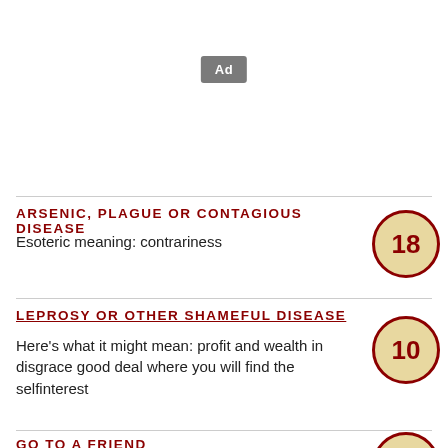[Figure (other): Ad placeholder button with grey background and white text 'Ad']
ARSENIC, PLAGUE OR CONTAGIOUS DISEASE
Esoteric meaning: contrariness
LEPROSY OR OTHER SHAMEFUL DISEASE
Here's what it might mean: profit and wealth in disgrace good deal where you will find the selfinterest
GO TO A FRIEND